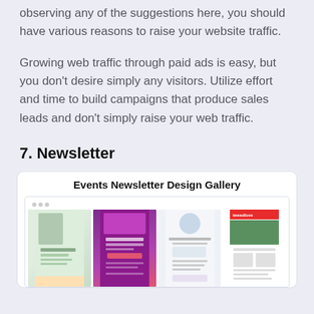observing any of the suggestions here, you should have various reasons to raise your website traffic.
Growing web traffic through paid ads is easy, but you don't desire simply any visitors. Utilize effort and time to build campaigns that produce sales leads and don't simply raise your web traffic.
7. Newsletter
[Figure (screenshot): Events Newsletter Design Gallery showing four newsletter template screenshots in a browser-like frame]